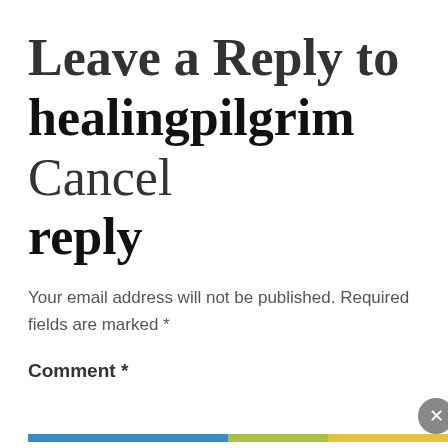Leave a Reply to healingpilgrim Cancel reply
Your email address will not be published. Required fields are marked *
Comment *
Privacy & Cookies: This site uses cookies. By continuing to use this website, you agree to their use.
To find out more, including how to control cookies, see here: Cookie Policy
Close and accept